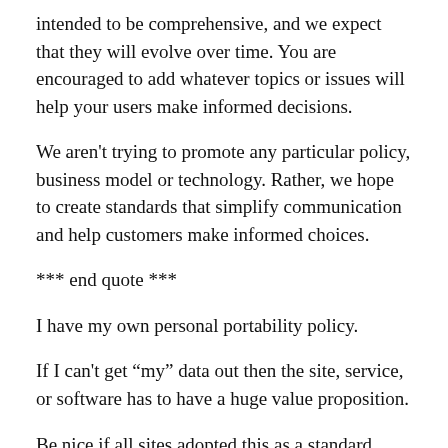intended to be comprehensive, and we expect that they will evolve over time. You are encouraged to add whatever topics or issues will help your users make informed decisions.
We aren't trying to promote any particular policy, business model or technology. Rather, we hope to create standards that simplify communication and help customers make informed choices.
*** end quote ***
I have my own personal portability policy.
If I can't get “my” data out then the site, service, or software has to have a huge value proposition.
Be nice if all sites adopted this as a standard. Even if it’s